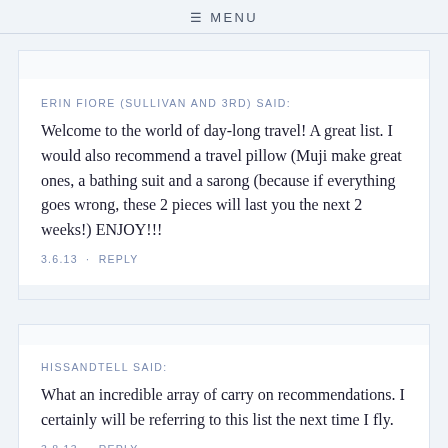≡ MENU
ERIN FIORE (SULLIVAN AND 3RD) SAID:
Welcome to the world of day-long travel! A great list. I would also recommend a travel pillow (Muji make great ones, a bathing suit and a sarong (because if everything goes wrong, these 2 pieces will last you the next 2 weeks!) ENJOY!!!
3.6.13 · REPLY
HISSANDTELL SAID:
What an incredible array of carry on recommendations. I certainly will be referring to this list the next time I fly.
3.8.13 · REPLY